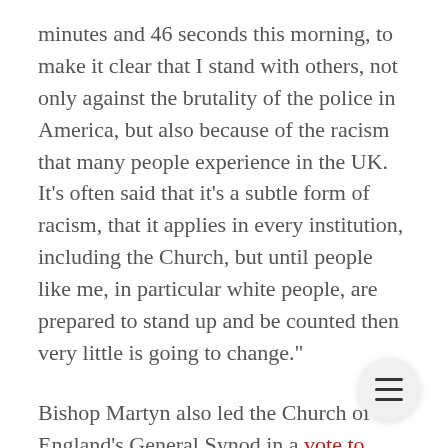minutes and 46 seconds this morning, to make it clear that I stand with others, not only against the brutality of the police in America, but also because of the racism that many people experience in the UK. It’s often said that it’s a subtle form of racism, that it applies in every institution, including the Church, but until people like me, in particular white people, are prepared to stand up and be counted then very little is going to change.”
Bishop Martyn also led the Church of England’s General Synod in a vote to apologise for racism in the Church earlier this year.
Last week, The Times newspaper published a le... written by the Bishop of Loughborough where she